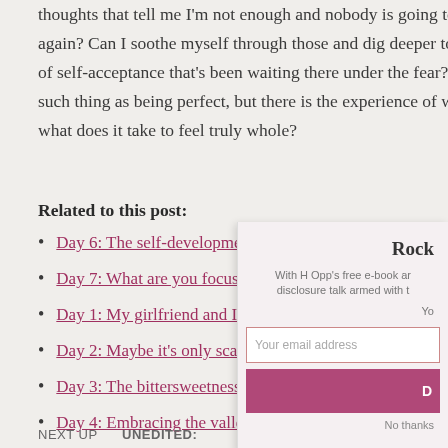thoughts that tell me I'm not enough and nobody is going to love me again? Can I soothe myself through those and dig deeper to find that well of self-acceptance that's been waiting there under the fear? There is no such thing as being perfect, but there is the experience of wholeness. And what does it take to feel truly whole?
Related to this post:
Day 6: The self-development trap
Day 7: What are you focusing on?
Day 1: My girlfriend and I broke up
Day 2: Maybe it's only scary in your imagination?
Day 3: The bittersweetness of grief
Day 4: Embracing the valleys of life
NEXT UP    UNEDITED: